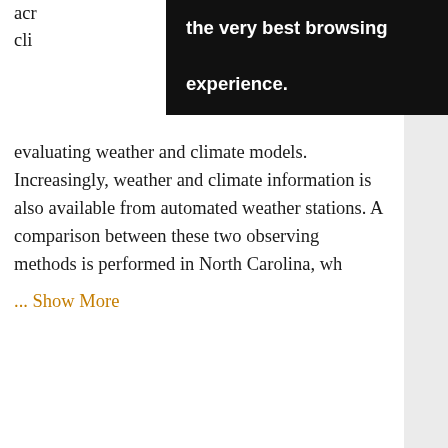[Figure (screenshot): Black browser tooltip overlay reading 'the very best browsing experience.']
across … cli… evaluating weather and climate models. Increasingly, weather and climate information is also available from automated weather stations. A comparison between these two observing methods is performed in North Carolina, wh
... Show More
Journal:  Journal of Atmospheric and Oceanic Technology
Volume/Issue:  Volume 23: Issue 5
DOI:  https://doi.org/10.1175/JTECH1873.1
Published Online:  May 2006
[Figure (screenshot): Orange sidebar with save (floppy disk), email (envelope), and share (network) icons.]
Abstract   Download PDF